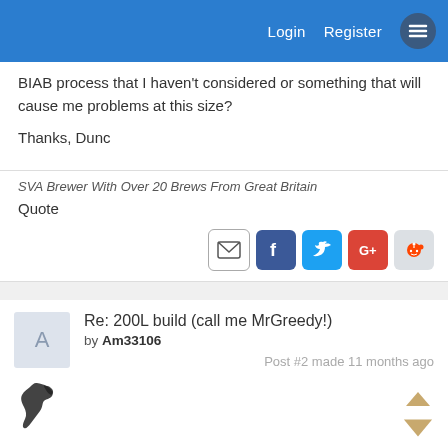Login  Register
BIAB process that I haven't considered or something that will cause me problems at this size?

Thanks, Dunc
SVA Brewer With Over 20 Brews From Great Britain
Quote
[Figure (screenshot): Social sharing icons: email, Facebook, Twitter, Google+, Reddit]
Re: 200L build (call me MrGreedy!)
by Am33106
Post #2 made 11 months ago
[Figure (illustration): Small map/silhouette of North America]